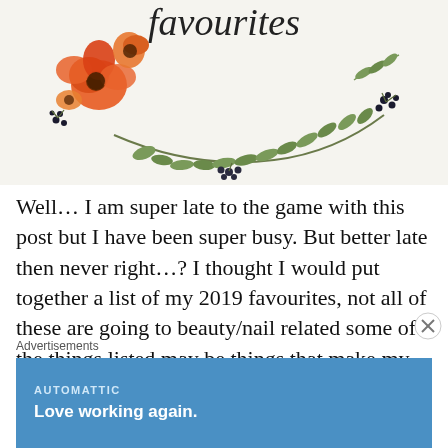[Figure (illustration): Decorative floral wreath illustration with orange/red poppy flowers on the left side and green leafy branches curving around the bottom, with the word 'favourites' in script at the top, on a light beige background.]
Well… I am super late to the game with this post but I have been super busy. But better late then never right…? I thought I would put together a list of my 2019 favourites, not all of these are going to beauty/nail related some of the things listed may be things that make my
Advertisements
AUTOMATTIC
Love working again.